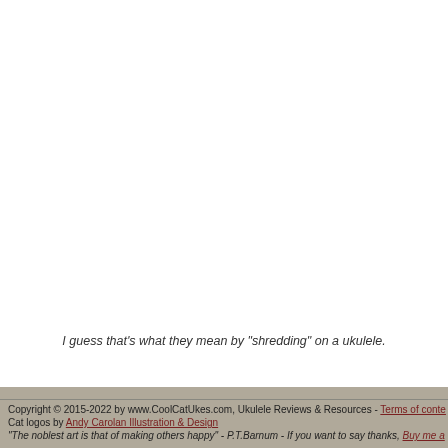I guess that's what they mean by "shredding" on a ukulele.
Copyright © 2015-2022 by www.CoolCatUkes.com, Ukulele Reviews & Resources - Terms of conte... Cat logos by Andy Carolan Illustration & Design "The noblest art is that of making others happy" - P.T.Barnum - If you want to say thanks, Buy me a...